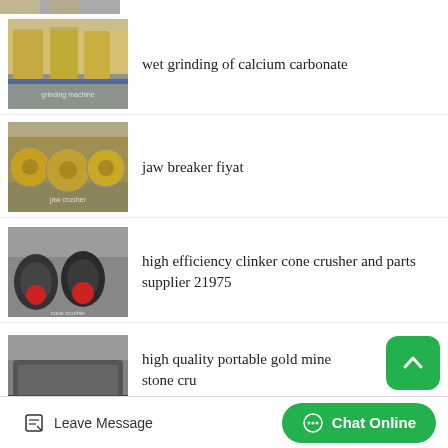[Figure (photo): Industrial grinding machine - partial view at top]
wet grinding of calcium carbonate
[Figure (photo): Jaw crusher machines in yellow, multiple units in factory]
jaw breaker fiyat
[Figure (photo): Black cone crushers with red accents in industrial facility]
high efficiency clinker cone crusher and parts supplier 21975
[Figure (photo): Mobile stone crusher on wheels/truck]
high quality portable gold mine stone crusher in Strasbourg
Leave Message   Chat Online